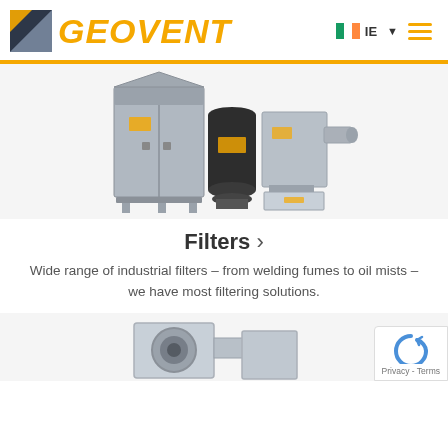[Figure (logo): Geovent logo with yellow/orange italic text and a square icon with dark triangle, plus Irish flag and IE label, dropdown arrow, and hamburger menu]
[Figure (photo): Industrial filter units: large cabinet-style filter on left, cylindrical filter in center, compact unit on right, all metal/silver and dark colored]
Filters ›
Wide range of industrial filters – from welding fumes to oil mists – we have most filtering solutions.
[Figure (photo): Partial view of industrial duct/ventilation equipment at bottom of page]